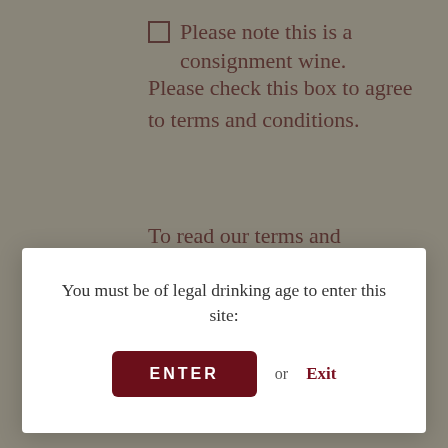Please note this is a consignment wine.
Please check this box to agree to terms and conditions.
To read our terms and conditions, click
1
ADD TO CART
"Extremely promising, the closed 2006 Pinot Noir UV Vineyard boasts earthy, raspberry, red and black currant notes intermixed with
You must be of legal drinking age to enter this site:
ENTER or Exit